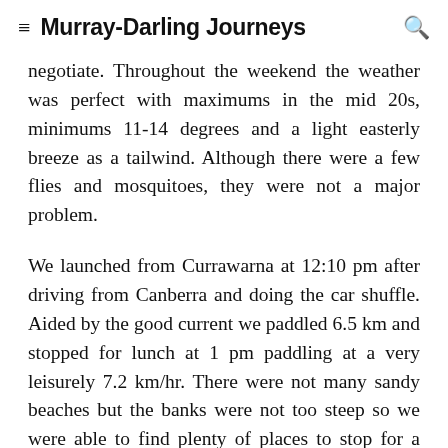Murray-Darling Journeys
negotiate. Throughout the weekend the weather was perfect with maximums in the mid 20s, minimums 11-14 degrees and a light easterly breeze as a tailwind. Although there were a few flies and mosquitoes, they were not a major problem.
We launched from Currawarna at 12:10 pm after driving from Canberra and doing the car shuffle. Aided by the good current we paddled 6.5 km and stopped for lunch at 1 pm paddling at a very leisurely 7.2 km/hr. There were not many sandy beaches but the banks were not too steep so we were able to find plenty of places to stop for a break. We